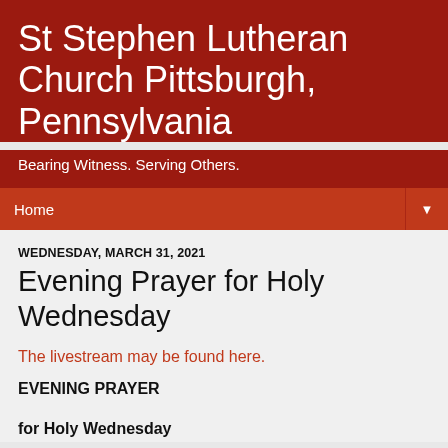St Stephen Lutheran Church Pittsburgh, Pennsylvania
Bearing Witness. Serving Others.
Home
WEDNESDAY, MARCH 31, 2021
Evening Prayer for Holy Wednesday
The livestream may be found here.
EVENING PRAYER
for Holy Wednesday